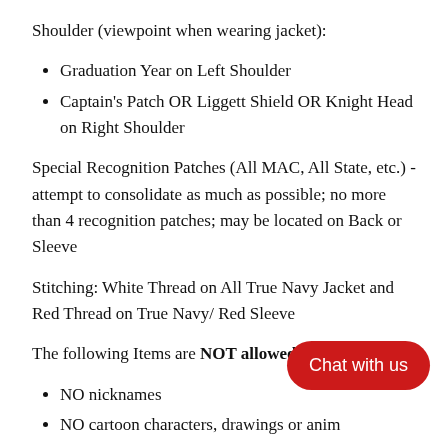Shoulder (viewpoint when wearing jacket):
Graduation Year on Left Shoulder
Captain's Patch OR Liggett Shield OR Knight Head on Right Shoulder
Special Recognition Patches (All MAC, All State, etc.) - attempt to consolidate as much as possible; no more than 4 recognition patches; may be located on Back or Sleeve
Stitching: White Thread on All True Navy Jacket and Red Thread on True Navy/ Red Sleeve
The following Items are NOT allowed on the Jacket:
NO nicknames
NO cartoon characters, drawings or anim
NO medals
[Figure (other): Red rounded rectangle button labeled 'Chat with us']